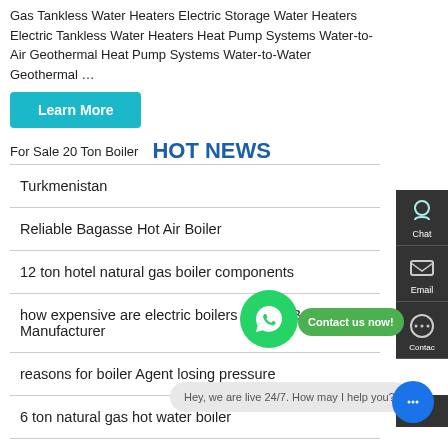Gas Tankless Water Heaters Electric Storage Water Heaters Electric Tankless Water Heaters Heat Pump Systems Water-to-Air Geothermal Heat Pump Systems Water-to-Water Geothermal …
Learn More
For Sale 20 Ton Boiler   HOT NEWS
Turkmenistan
Reliable Bagasse Hot Air Boiler
12 ton hotel natural gas boiler components
how expensive are electric boilers to run - Boiler Manufacturer
reasons for boiler Agent losing pressure
6 ton natural gas hot water boiler